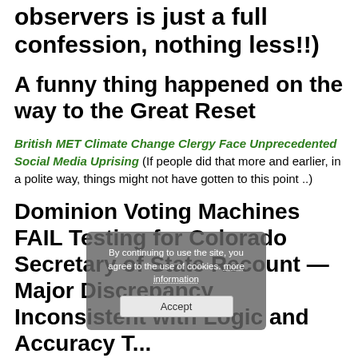observers is just a full confession, nothing less!!)
A funny thing happened on the way to the Great Reset
British MET Climate Change Clergy Face Unprecedented Social Media Uprising (If people did that more and earlier, in a polite way, things might not have gotten to this point ..)
Dominion Voting Machines FAIL Testing for Colorado Secretary of State Recount — Major Discrepancy Inconsistent with Logic and Accuracy T...
Aerospace Engineer and Former